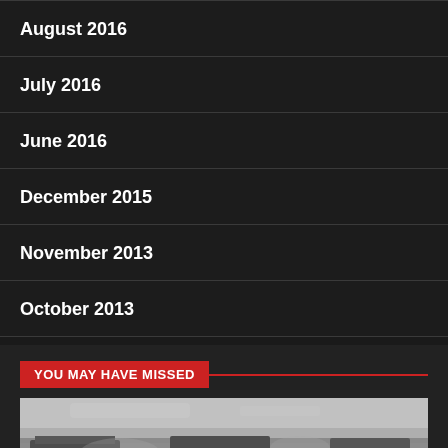August 2016
July 2016
June 2016
December 2015
November 2013
October 2013
YOU MAY HAVE MISSED
[Figure (photo): Black and white historical WWII photograph showing military vehicles and tanks on a beach during an amphibious landing operation]